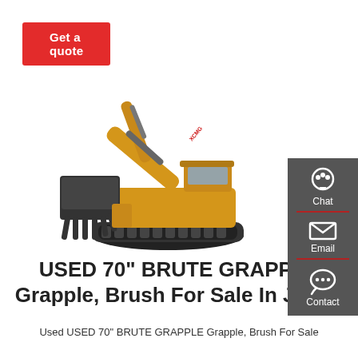Get a quote
[Figure (photo): Yellow XCMG crawler excavator with grapple bucket attachment, shown on white background]
[Figure (infographic): Dark grey sidebar with three contact options: Chat (headset icon), Email (envelope icon), Contact (speech bubble with dots icon), separated by red dividers]
USED 70" BRUTE GRAPPLE Grapple, Brush For Sale In Jesup
Used USED 70" BRUTE GRAPPLE Grapple, Brush For Sale